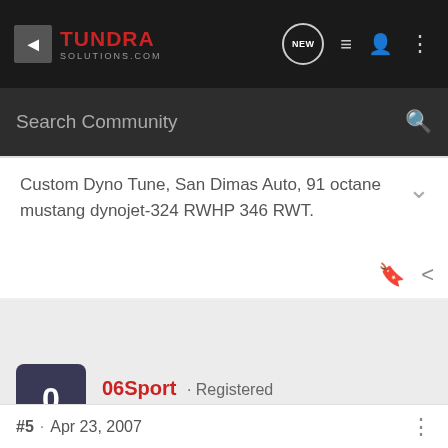TundraSolutions.com - Navigation header with logo, search, and icons
Search Community
Custom Dyno Tune, San Dimas Auto, 91 octane mustang dynojet-324 RWHP 346 RWT.
06Sport · Registered
Joined Nov 1, 2006 · 157 Posts
#5 · Apr 23, 2007